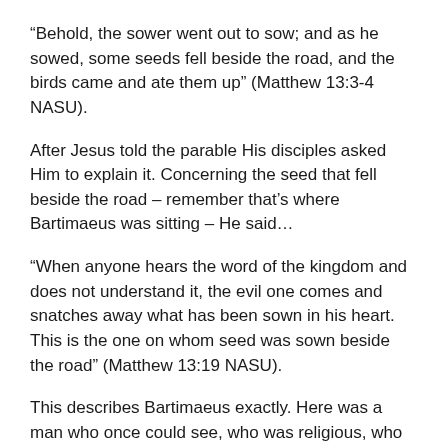“Behold, the sower went out to sow; and as he sowed, some seeds fell beside the road, and the birds came and ate them up” (Matthew 13:3-4 NASU).
After Jesus told the parable His disciples asked Him to explain it. Concerning the seed that fell beside the road – remember that’s where Bartimaeus was sitting – He said…
“When anyone hears the word of the kingdom and does not understand it, the evil one comes and snatches away what has been sown in his heart. This is the one on whom seed was sown beside the road” (Matthew 13:19 NASU).
This describes Bartimaeus exactly. Here was a man who once could see, who was religious, who had the seed of Truth spread upon his heart, but as his worship became corrupt because the truth that was given to him never found a place to take root; thus, giving Satan the